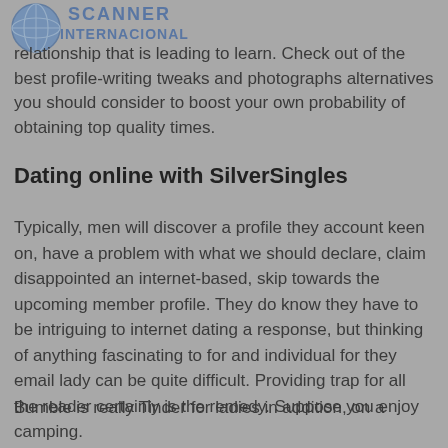[Figure (logo): Scanner Internacional logo with globe icon and blue text]
relationship that is leading to learn. Check out of the best profile-writing tweaks and photographs alternatives you should consider to boost your own probability of obtaining top quality times.
Dating online with SilverSingles
Typically, men will discover a profile they account keen on, have a problem with what we should declare, claim disappointed an internet-based, skip towards the upcoming member profile. They do know they have to be intriguing to internet dating a response, but thinking of anything fascinating to for and individual for they email lady can be quite difficult. Providing trap for all the reader certainly is the remedy. Suppose you enjoy camping.
Bumble is really Tinder for ladies in addition, on a